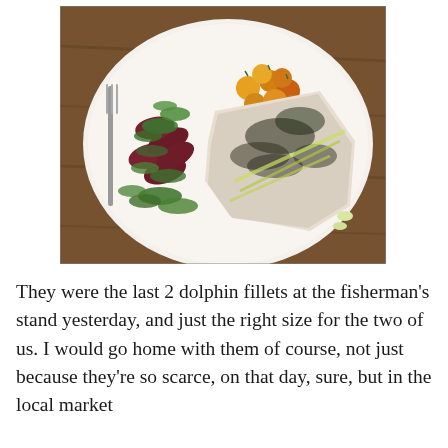[Figure (photo): A white plate on a wooden table holding a grilled fish fillet topped with herbs and scallions, alongside dark red sausages with fresh green herbs, and small yellow-orange cherry tomatoes. A fork is visible at the left edge.]
They were the last 2 dolphin fillets at the fisherman's stand yesterday, and just the right size for the two of us. I would go home with them of course, not just because they're so scarce, on that day, sure, but in the local market